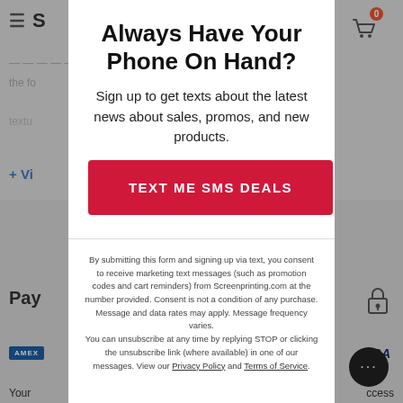Always Have Your Phone On Hand?
Sign up to get texts about the latest news about sales, promos, and new products.
TEXT ME SMS DEALS
By submitting this form and signing up via text, you consent to receive marketing text messages (such as promotion codes and cart reminders) from Screenprinting.com at the number provided. Consent is not a condition of any purchase. Message and data rates may apply. Message frequency varies. You can unsubscribe at any time by replying STOP or clicking the unsubscribe link (where available) in one of our messages. View our Privacy Policy and Terms of Service.